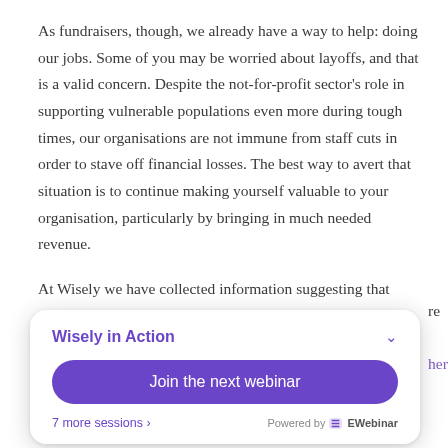As fundraisers, though, we already have a way to help: doing our jobs. Some of you may be worried about layoffs, and that is a valid concern. Despite the not-for-profit sector's role in supporting vulnerable populations even more during tough times, our organisations are not immune from staff cuts in order to stave off financial losses. The best way to avert that situation is to continue making yourself valuable to your organisation, particularly by bringing in much needed revenue.
At Wisely we have collected information suggesting that some organisations have stopped fundraising, waiting to see what happens. But we're also hearing that most organisations are continuing to fundraise, and those that are retooling their [approaches] are having
[Figure (screenshot): A popup card titled 'Wisely in Action' with a purple 'Join the next webinar' button, '7 more sessions ›' link, and 'Powered by EWebinar' text.]
here, here, here
This makes sense, because research has shown that even when